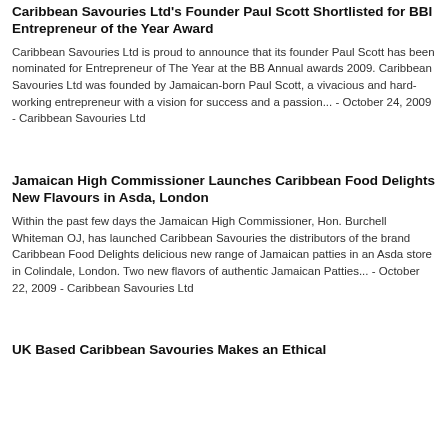Caribbean Savouries Ltd's Founder Paul Scott Shortlisted for BBI Entrepreneur of the Year Award
Caribbean Savouries Ltd is proud to announce that its founder Paul Scott has been nominated for Entrepreneur of The Year at the BB Annual awards 2009. Caribbean Savouries Ltd was founded by Jamaican-born Paul Scott, a vivacious and hard-working entrepreneur with a vision for success and a passion... - October 24, 2009 - Caribbean Savouries Ltd
Jamaican High Commissioner Launches Caribbean Food Delights New Flavours in Asda, London
Within the past few days the Jamaican High Commissioner, Hon. Burchell Whiteman OJ, has launched Caribbean Savouries the distributors of the brand Caribbean Food Delights delicious new range of Jamaican patties in an Asda store in Colindale, London. Two new flavors of authentic Jamaican Patties... - October 22, 2009 - Caribbean Savouries Ltd
UK Based Caribbean Savouries Makes an Ethical